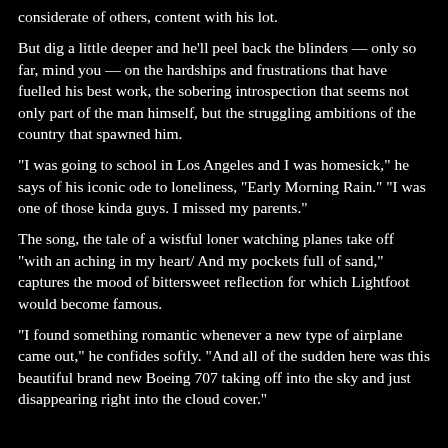considerate of others, content with his lot.
But dig a little deeper and he'll peel back the blinders — only so far, mind you — on the hardships and frustrations that have fuelled his best work, the sobering introspection that seems not only part of the man himself, but the struggling ambitions of the country that spawned him.
"I was going to school in Los Angeles and I was homesick," he says of his iconic ode to loneliness, "Early Morning Rain." "I was one of those kinda guys. I missed my parents."
The song, the tale of a wistful loner watching planes take off "with an aching in my heart/ And my pockets full of sand," captures the mood of bittersweet reflection for which Lightfoot would become famous.
"I found something romantic whenever a new type of airplane came out," he confides softly. "And all of the sudden here was this beautiful brand new Boeing 707 taking off into the sky and just disappearing right into the cloud cover."